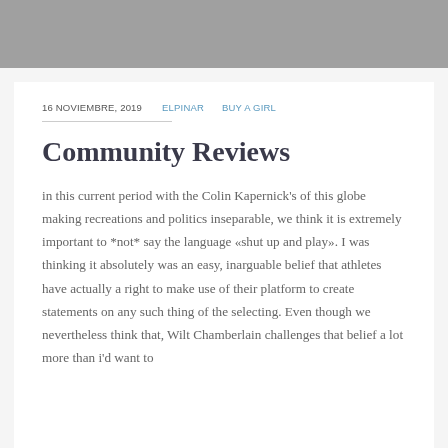16 NOVIEMBRE, 2019   ELPINAR   BUY A GIRL
Community Reviews
in this current period with the Colin Kapernick's of this globe making recreations and politics inseparable, we think it is extremely important to *not* say the language «shut up and play». I was thinking it absolutely was an easy, inarguable belief that athletes have actually a right to make use of their platform to create statements on any such thing of the selecting. Even though we nevertheless think that, Wilt Chamberlain challenges that belief a lot more than i'd want to